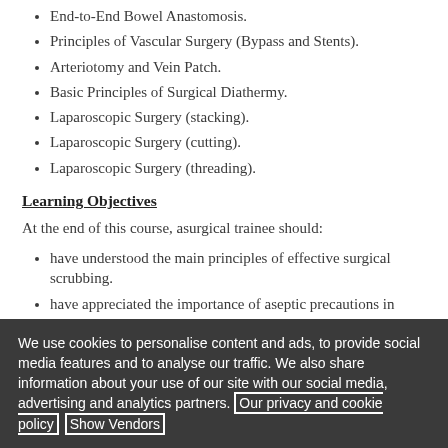End-to-End Bowel Anastomosis.
Principles of Vascular Surgery (Bypass and Stents).
Arteriotomy and Vein Patch.
Basic Principles of Surgical Diathermy.
Laparoscopic Surgery (stacking).
Laparoscopic Surgery (cutting).
Laparoscopic Surgery (threading).
Learning Objectives
At the end of this course, asurgical trainee should:
have understood the main principles of effective surgical scrubbing.
have appreciated the importance of aseptic precautions in surgery.
be able to gown in a correct manner.
We use cookies to personalise content and ads, to provide social media features and to analyse our traffic. We also share information about your use of our site with our social media, advertising and analytics partners. Our privacy and cookie policy Show Vendors